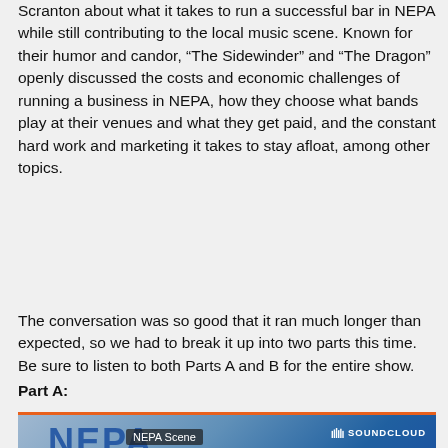Scranton about what it takes to run a successful bar in NEPA while still contributing to the local music scene. Known for their humor and candor, “The Sidewinder” and “The Dragon” openly discussed the costs and economic challenges of running a business in NEPA, how they choose what bands play at their venues and what they get paid, and the constant hard work and marketing it takes to stay afloat, among other topics.
The conversation was so good that it ran much longer than expected, so we had to break it up into two parts this time. Be sure to listen to both Parts A and B for the entire show.
Part A:
[Figure (screenshot): SoundCloud embedded player widget showing NEPA Scene podcast with a Play on SoundCloud button in orange.]